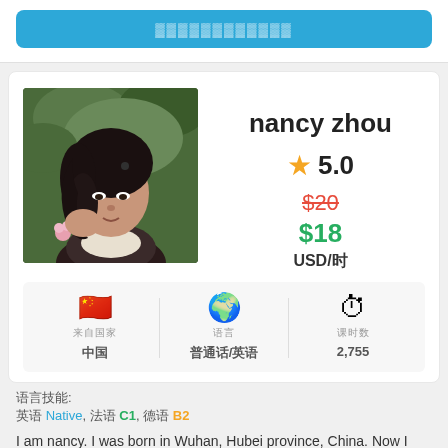[Figure (other): Blue button/banner at top of page with faded text]
[Figure (photo): Profile photo of Nancy Zhou, a young Asian woman sitting outdoors among green foliage with pink flowers]
nancy zhou
★ 5.0
$20 (strikethrough price) $18 USD/lesson
🇨🇳 (flag emoji) label: country, value: 中国 | 🌍 (globe emoji) label: 语言, value: 普通话/英语 | ⏱ (stopwatch emoji) label: 课时数, value: 2,755
语言技能: 英语 Native, 法语 C1, 德语 B2
I am nancy. I was born in Wuhan, Hubei province, China. Now I